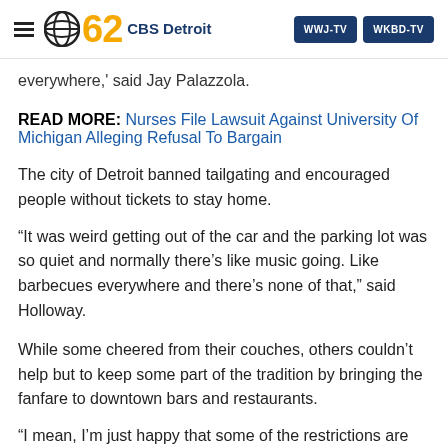62 CBS Detroit | WWJ-TV | WKBD-TV
everywhere,' said Jay Palazzola.
READ MORE: Nurses File Lawsuit Against University Of Michigan Alleging Refusal To Bargain
The city of Detroit banned tailgating and encouraged people without tickets to stay home.
“It was weird getting out of the car and the parking lot was so quiet and normally there’s like music going. Like barbecues everywhere and there’s none of that,” said Holloway.
While some cheered from their couches, others couldn’t help but to keep some part of the tradition by bringing the fanfare to downtown bars and restaurants.
“I mean, I’m just happy that some of the restrictions are